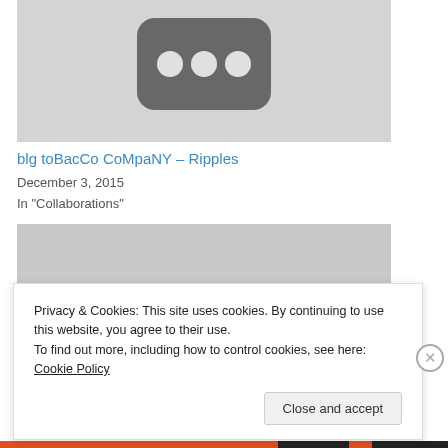[Figure (screenshot): Partial YouTube-style video thumbnail placeholder with gray background and dark rounded rectangle with three white circles (play button area)]
blg toBacCo CoMpaNY – Ripples
December 3, 2015
In "Collaborations"
[Figure (photo): Partial gray placeholder image, cropped]
Privacy & Cookies: This site uses cookies. By continuing to use this website, you agree to their use.
To find out more, including how to control cookies, see here: Cookie Policy
Close and accept